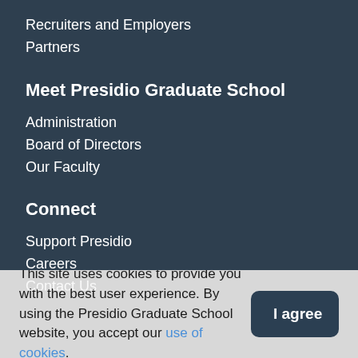Recruiters and Employers
Partners
Meet Presidio Graduate School
Administration
Board of Directors
Our Faculty
Connect
Support Presidio
Careers
Contact Us
This site uses cookies to provide you with the best user experience. By using the Presidio Graduate School website, you accept our use of cookies.